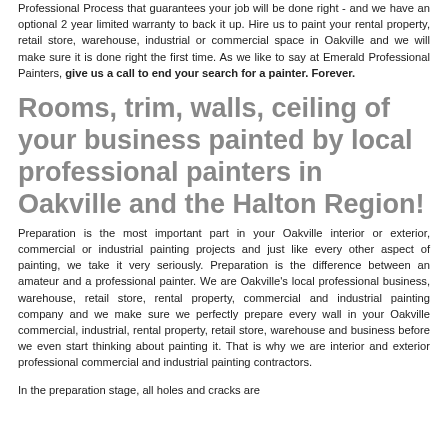Professional Process that guarantees your job will be done right - and we have an optional 2 year limited warranty to back it up. Hire us to paint your rental property, retail store, warehouse, industrial or commercial space in Oakville and we will make sure it is done right the first time. As we like to say at Emerald Professional Painters, give us a call to end your search for a painter. Forever.
Rooms, trim, walls, ceiling of your business painted by local professional painters in Oakville and the Halton Region!
Preparation is the most important part in your Oakville interior or exterior, commercial or industrial painting projects and just like every other aspect of painting, we take it very seriously. Preparation is the difference between an amateur and a professional painter. We are Oakville's local professional business, warehouse, retail store, rental property, commercial and industrial painting company and we make sure we perfectly prepare every wall in your Oakville commercial, industrial, rental property, retail store, warehouse and business before we even start thinking about painting it. That is why we are interior and exterior professional commercial and industrial painting contractors.
In the preparation stage, all holes and cracks are